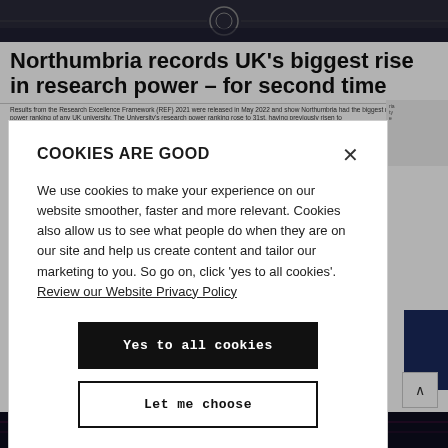[Figure (screenshot): University website header with dark background image showing a building or campus detail]
Northumbria records UK's biggest rise in research power – for second time
Results from the Research Excellence Framework (REF) 2021 were released in May 2022 and show Northumbria had the biggest rise in research power ranking of any UK university. The University's research power ranking rose to 31st, having previously risen to...
COOKIES ARE GOOD

We use cookies to make your experience on our website smoother, faster and more relevant. Cookies also allow us to see what people do when they are on our site and help us create content and tailor our marketing to you. So go on, click 'yes to all cookies'. Review our Website Privacy Policy

Yes to all cookies

Let me choose